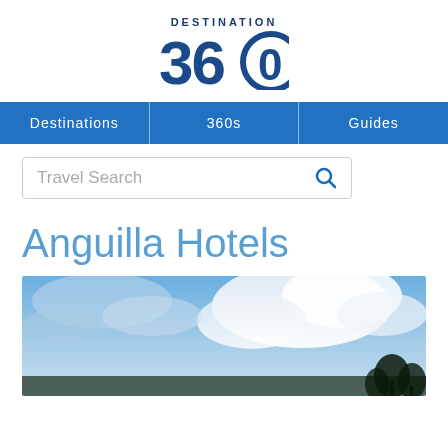[Figure (logo): Destination 360 logo with stylized 360 text and circular O]
Destinations | 360s | Guides
[Figure (screenshot): Travel Search input box with magnifying glass icon]
Anguilla Hotels
[Figure (photo): Sky photo with blue sky and white clouds, dark tree silhouettes at bottom]